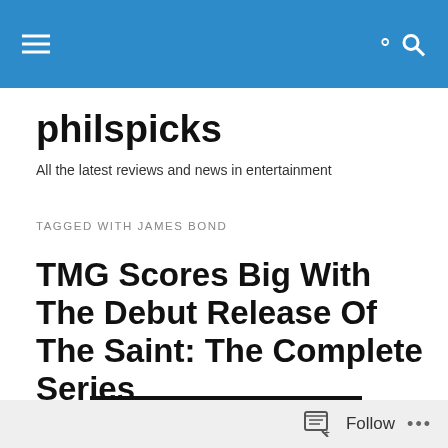philspicks navigation bar
philspicks
All the latest reviews and news in entertainment
TAGGED WITH JAMES BOND
TMG Scores Big With The Debut Release Of The Saint: The Complete Series
[Figure (photo): DVD cover showing Roger Moore text on orange background with black bar at top]
Follow